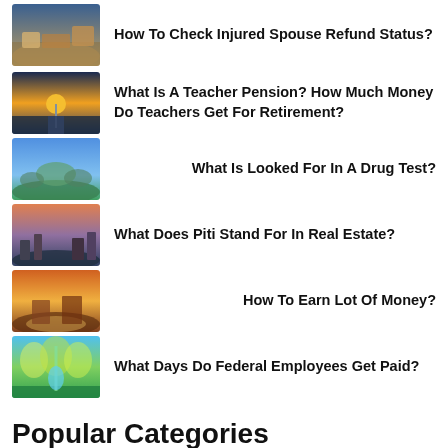How To Check Injured Spouse Refund Status?
What Is A Teacher Pension? How Much Money Do Teachers Get For Retirement?
What Is Looked For In A Drug Test?
What Does Piti Stand For In Real Estate?
How To Earn Lot Of Money?
What Days Do Federal Employees Get Paid?
Popular Categories